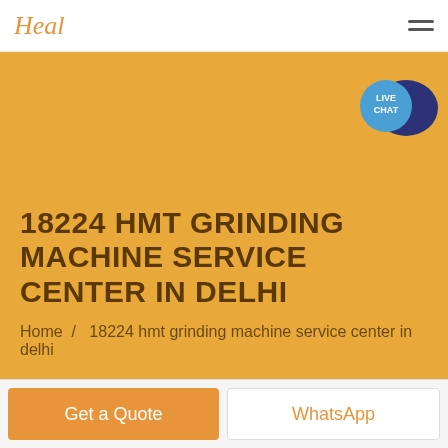Heal
18224 HMT GRINDING MACHINE SERVICE CENTER IN DELHI
Home / 18224 hmt grinding machine service center in delhi
[Figure (infographic): Live Chat button with blue speech bubble icon]
Get a Quote
WhatsApp